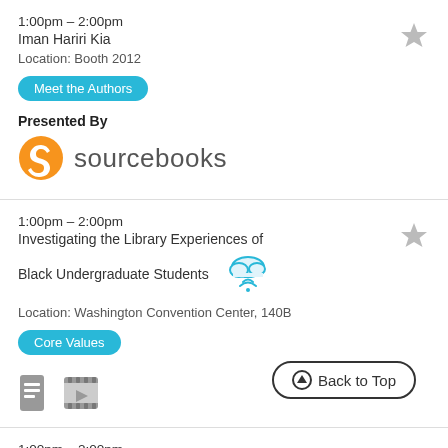1:00pm – 2:00pm
Iman Hariri Kia
Location: Booth 2012
Meet the Authors
Presented By
[Figure (logo): Sourcebooks logo with orange S icon and text 'sourcebooks']
1:00pm – 2:00pm
Investigating the Library Experiences of Black Undergraduate Students
Location: Washington Convention Center, 140B
Core Values
[Figure (illustration): Cloud with WiFi signal icon]
[Figure (illustration): Document icon and film strip icon]
Back to Top
1:00pm – 2:00pm
Jessi Hempel
Location: Booth 1222